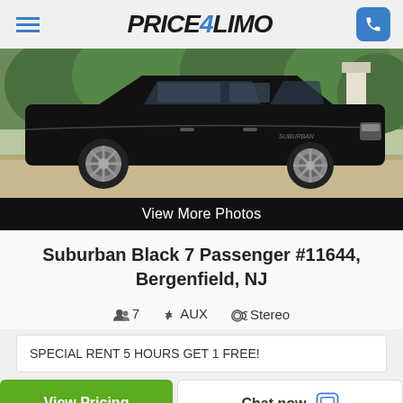PRICE4LIMO
[Figure (photo): Black Chevrolet Suburban SUV parked in a driveway, side view, chrome wheels, lush greenery in background]
View More Photos
Suburban Black 7 Passenger #11644, Bergenfield, NJ
7 passengers | AUX | Stereo
SPECIAL RENT 5 HOURS GET 1 FREE!
View Pricing
Chat now